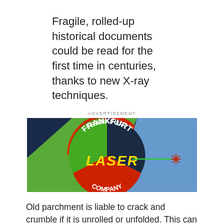Fragile, rolled-up historical documents could be read for the first time in centuries, thanks to new X-ray techniques.
[Figure (logo): Frankfurt Laser Company advertisement banner with colorful geometric design featuring a dark navy background with green, red, and blue segments, white text reading FRANKFURT and COMPANY in an arc, yellow stylized text reading LASER, and a green laser beam pointing to a red starburst on the right.]
Old parchment is liable to crack and crumble if it is unrolled or unfolded. This can create a conflict between those who want to preserve documents and those who want to read them, but researchers at Cardiff University and Queen Mary, University of London believe that their approach could get around the problem. Their technique enables parchment to be unrolled or unfolded ‘virtually’ so that historians can access previously unusable written sources and gain new insight into the